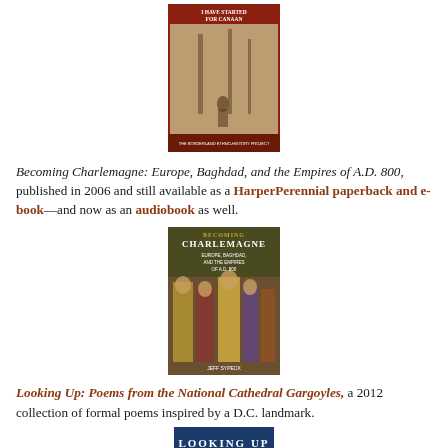[Figure (photo): Book cover: 'I Have Started for Canaan' - The Borderland Ethno-History Project, showing a sepia historical photograph of a person working outdoors with a dark red/maroon banner at top]
Becoming Charlemagne: Europe, Baghdad, and the Empires of A.D. 800, published in 2006 and still available as a HarperPerennial paperback and e-book—and now as an audiobook as well.
[Figure (photo): Book cover: 'Becoming Charlemagne: Europe, Baghdad, and the Empires of A.D. 800' by Jeff Sypeck, showing medieval figures in robes]
Looking Up: Poems from the National Cathedral Gargoyles, a 2012 collection of formal poems inspired by a D.C. landmark.
[Figure (photo): Book cover: 'Looking Up' - partial cover visible at bottom showing blue banner with white text]